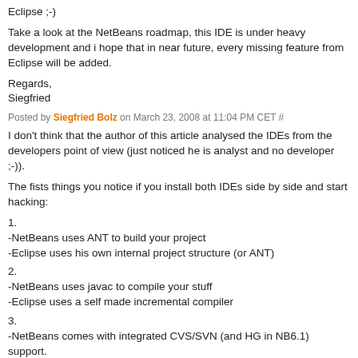Eclipse ;-)
Take a look at the NetBeans roadmap, this IDE is under heavy development and i hope that in near future, every missing feature from Eclipse will be added.
Regards,
Siegfried
Posted by Siegfried Bolz on March 23, 2008 at 11:04 PM CET #
I don't think that the author of this article analysed the IDEs from the developers point of view (just noticed he is analyst and no developer ;-)).
The fists things you notice if you install both IDEs side by side and start hacking:
1.
-NetBeans uses ANT to build your project
-Eclipse uses his own internal project structure (or ANT)
2.
-NetBeans uses javac to compile your stuff
-Eclipse uses a self made incremental compiler
3.
-NetBeans comes with integrated CVS/SVN (and HG in NB6.1) support.
-Eclipse not (now you need plugins)
...
This three points are not mentioned in the javaworld article and probably the core features of every IDE (how to build, run and organize your code). The mentioned points are also more important as they may seem initially.